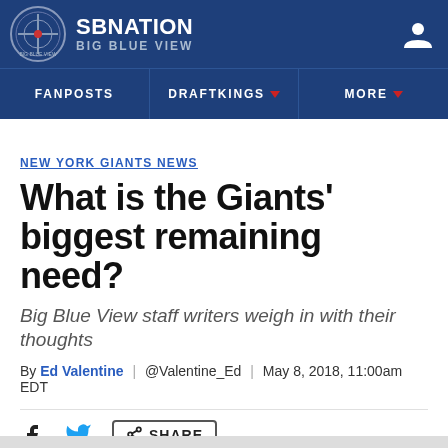SB NATION - BIG BLUE VIEW
FANPOSTS | DRAFTKINGS | MORE
NEW YORK GIANTS NEWS
What is the Giants' biggest remaining need?
Big Blue View staff writers weigh in with their thoughts
By Ed Valentine | @Valentine_Ed | May 8, 2018, 11:00am EDT